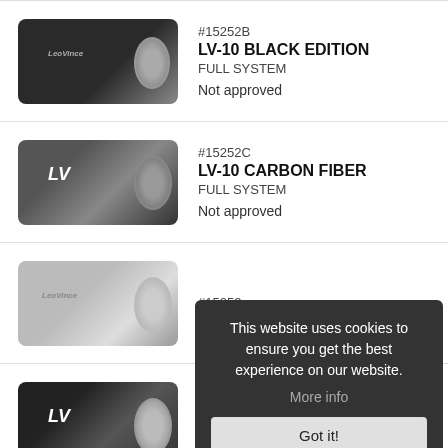[Figure (photo): LeoVince LV-10 Black Edition exhaust muffler product photo]
#15252B
LV-10 BLACK EDITION
FULL SYSTEM

Not approved
[Figure (photo): LeoVince LV-10 Carbon Fiber exhaust muffler product photo]
#15252C
LV-10 CARBON FIBER
FULL SYSTEM

Not approved
[Figure (photo): LeoVince LV-10 silver exhaust muffler product photo (#15253)]
#15253
[Figure (photo): LeoVince LV-10 dark exhaust muffler product photo]
FULL SYSTEM 1/2

Not approved
This website uses cookies to ensure you get the best experience on our website.
More info
Got it!